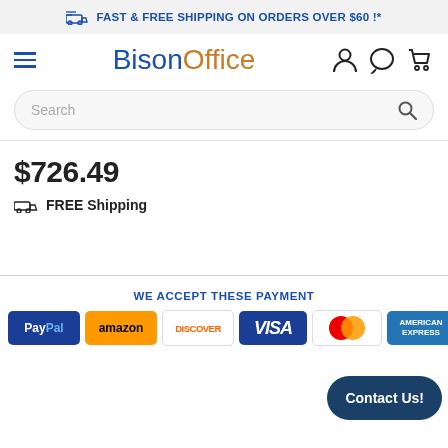FAST & FREE SHIPPING ON ORDERS OVER $60 !*
[Figure (logo): BisonOffice logo with hamburger menu and navigation icons (user, chat, cart)]
[Figure (screenshot): Search bar with magnifying glass icon]
$726.49
FREE Shipping
WE ACCEPT THESE PAYMENT
[Figure (infographic): Payment method badges: PayPal, Amazon, Discover, Visa, Mastercard, American Express]
Contact Us!